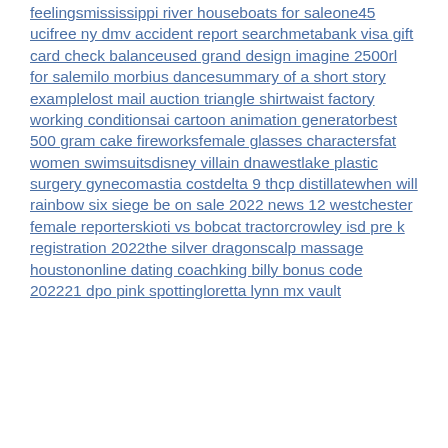feelingsmississippi river houseboats for saleone45 ucifree ny dmv accident report searchmetabank visa gift card check balanceused grand design imagine 2500rl for salemilo morbius dancesummary of a short story examplelost mail auction triangle shirtwaist factory working conditionsai cartoon animation generatorbest 500 gram cake fireworksfemale glasses charactersfat women swimsuitsdisney villain dnawestlake plastic surgery gynecomastia costdelta 9 thcp distillatewhen will rainbow six siege be on sale 2022 news 12 westchester female reporterskioti vs bobcat tractorcrowley isd pre k registration 2022the silver dragonscalp massage houstononline dating coachking billy bonus code 202221 dpo pink spottingloretta lynn mx vault